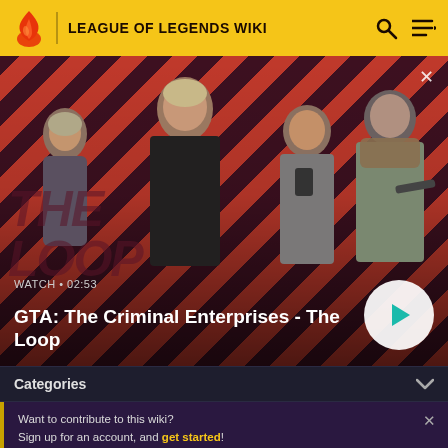LEAGUE OF LEGENDS WIKI
[Figure (screenshot): Video thumbnail for GTA: The Criminal Enterprises - The Loop, showing four characters against a red diagonal striped background. Duration shown as WATCH • 02:53 with a play button on the right.]
GTA: The Criminal Enterprises - The Loop
Categories
Want to contribute to this wiki? Sign up for an account, and get started! You can even turn off ads in your preferences.